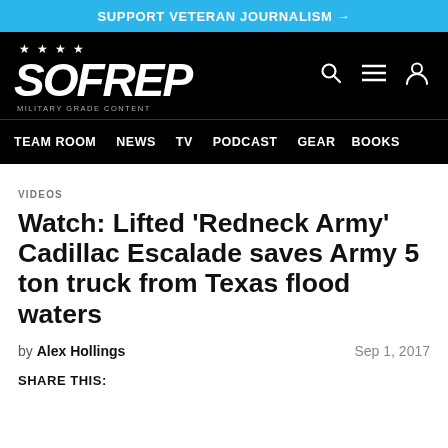SUPPORT VETERAN JOURNALISM →
[Figure (logo): SOFREP logo with stars above and 'MILITARY GRADE CONTENT' tagline, on black background, with search, menu, and user icons]
VIDEOS
Watch: Lifted 'Redneck Army' Cadillac Escalade saves Army 5 ton truck from Texas flood waters
by Alex Hollings  Sep 1, 2017
SHARE THIS: